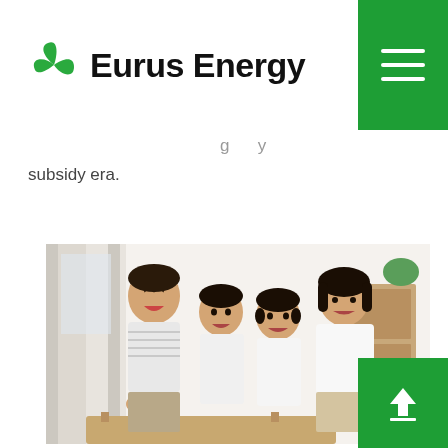[Figure (logo): Eurus Energy logo with green pinwheel/fan icon and bold black text 'Eurus Energy']
subsidy era.
[Figure (photo): A happy Japanese family of four (father, two daughters, mother) sitting together on a sofa in a bright, modern living room, smiling and laughing]
[Figure (other): Green hamburger menu button in top-right corner]
[Figure (other): Green scroll-to-top button with upward arrow in bottom-right corner]